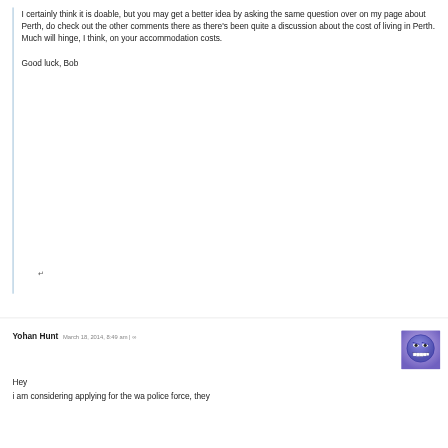I certainly think it is doable, but you may get a better idea by asking the same question over on my page about Perth, do check out the other comments there as there's been quite a discussion about the cost of living in Perth. Much will hinge, I think, on your accommodation costs.

Good luck, Bob
↵
Yohan Hunt March 18, 2014, 8:49 am | ∞
Hey
i am considering applying for the wa police force, they